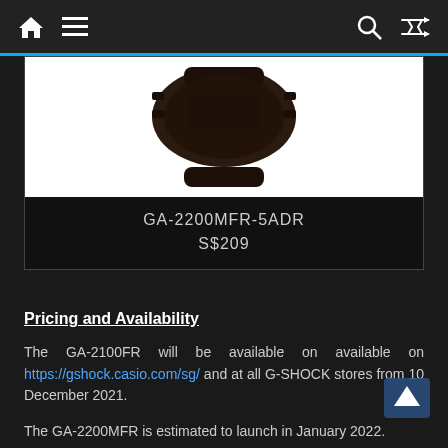Navigation bar with home, menu, search, and shuffle icons
[Figure (photo): Product photo of a G-SHOCK watch (dark coloured, GA-2200MFR-5ADR) shown from above against a white background, partially cropped at top]
GA-2200MFR-5ADR
S$209
Pricing and Availability
The GA-2100FR will be available on available on https://gshock.casio.com/sg/ and at all G-SHOCK stores from 10 December 2021.
The GA-2200MFR is estimated to launch in January 2022.
For more information on the GA-2100FR-5ADR,